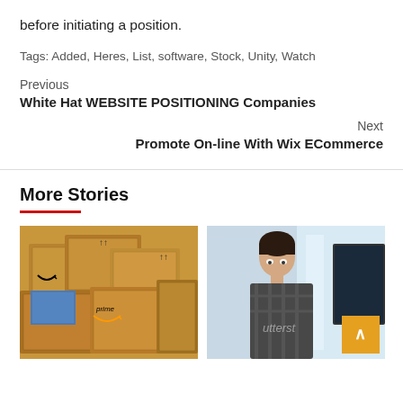before initiating a position.
Tags: Added, Heres, List, software, Stock, Unity, Watch
Previous
White Hat WEBSITE POSITIONING Companies
Next
Promote On-line With Wix ECommerce
More Stories
[Figure (photo): Stack of Amazon Prime cardboard boxes]
[Figure (photo): Man working at computer in office, Shutterstock watermark visible, with orange scroll-to-top button overlay]